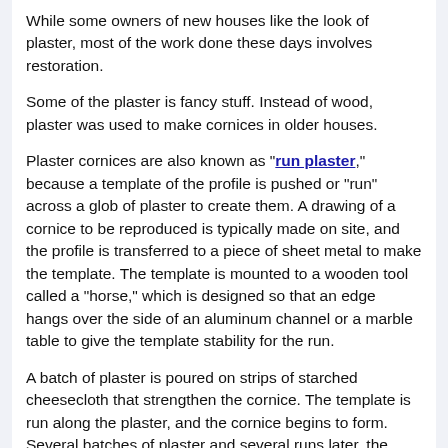While some owners of new houses like the look of plaster, most of the work done these days involves restoration.
Some of the plaster is fancy stuff. Instead of wood, plaster was used to make cornices in older houses.
Plaster cornices are also known as "run plaster," because a template of the profile is pushed or "run" across a glob of plaster to create them. A drawing of a cornice to be reproduced is typically made on site, and the profile is transferred to a piece of sheet metal to make the template. The template is mounted to a wooden tool called a "horse," which is designed so that an edge hangs over the side of an aluminum channel or a marble table to give the template stability for the run.
A batch of plaster is poured on strips of starched cheesecloth that strengthen the cornice. The template is run along the plaster, and the cornice begins to form. Several batches of plaster and several runs later, the cornice is completed and left to dry, usually for two or three days.
Often, smaller runs of cornice, called "sinkage" ornaments,